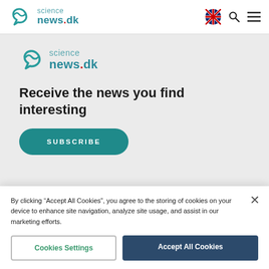science news.dk — navigation bar with logo, language selector, search, and menu icons
[Figure (logo): Science News DK logo in teal color with stylized 'vn' icon]
Receive the news you find interesting
SUBSCRIBE
By clicking “Accept All Cookies”, you agree to the storing of cookies on your device to enhance site navigation, analyze site usage, and assist in our marketing efforts.
Cookies Settings
Accept All Cookies